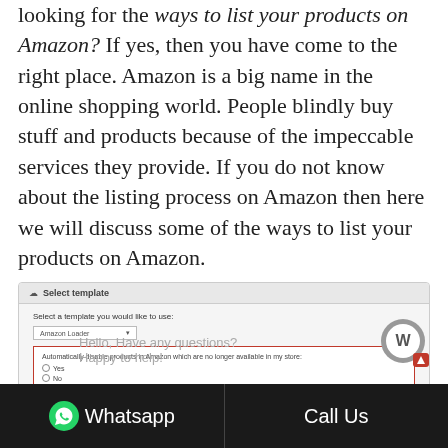looking for the ways to list your products on Amazon? If yes, then you have come to the right place. Amazon is a big name in the online shopping world. People blindly buy stuff and products because of the impeccable services they provide. If you do not know about the listing process on Amazon then here we will discuss some of the ways to list your products on Amazon.
[Figure (screenshot): Screenshot of an Amazon seller template selection interface showing 'Select template' header, a dropdown selector, a red-bordered checkbox section for automatically disabling products, and send template options. Overlaid with chat widget text 'Hello, Have any questions? Happy to help!' and a circular W icon.]
Whatsapp   Call Us